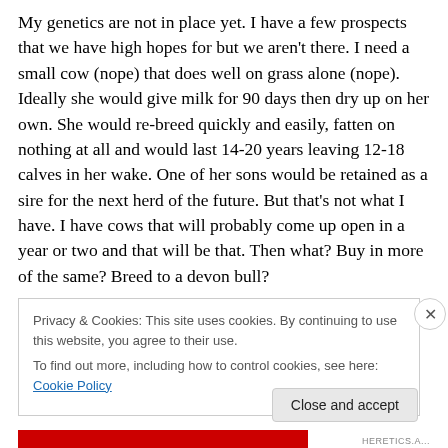My genetics are not in place yet. I have a few prospects that we have high hopes for but we aren't there. I need a small cow (nope) that does well on grass alone (nope). Ideally she would give milk for 90 days then dry up on her own. She would re-breed quickly and easily, fatten on nothing at all and would last 14-20 years leaving 12-18 calves in her wake. One of her sons would be retained as a sire for the next herd of the future. But that's not what I have. I have cows that will probably come up open in a year or two and that will be that. Then what? Buy in more of the same? Breed to a devon bull?
Privacy & Cookies: This site uses cookies. By continuing to use this website, you agree to their use.
To find out more, including how to control cookies, see here: Cookie Policy